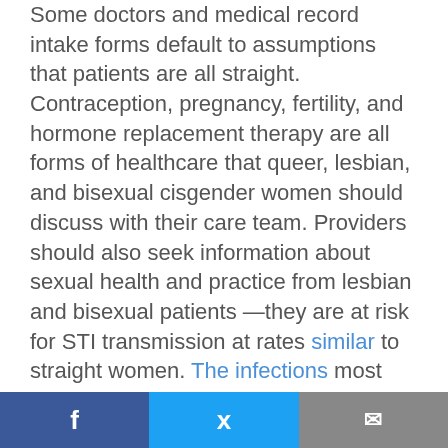Some doctors and medical record intake forms default to assumptions that patients are all straight. Contraception, pregnancy, fertility, and hormone replacement therapy are all forms of healthcare that queer, lesbian, and bisexual cisgender women should discuss with their care team. Providers should also seek information about sexual health and practice from lesbian and bisexual patients —they are at risk for STI transmission at rates similar to straight women. The infections most likely to be passed between female partners — herpes, genital warts, and HPV — are not always comprehensively tested at public health clinics that offer STI tests. Some sexual health challenges specific to lesbian and bisexual
Share buttons: Facebook, Twitter, Email